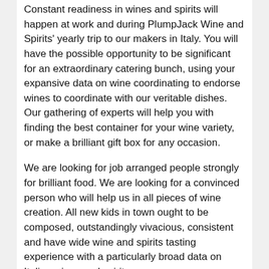Constant readiness in wines and spirits will happen at work and during PlumpJack Wine and Spirits' yearly trip to our makers in Italy. You will have the possible opportunity to be significant for an extraordinary catering bunch, using your expansive data on wine coordinating to endorse wines to coordinate with our veritable dishes. Our gathering of experts will help you with finding the best container for your wine variety, or make a brilliant gift box for any occasion.
We are looking for job arranged people strongly for brilliant food. We are looking for a convinced person who will help us in all pieces of wine creation. All new kids in town ought to be composed, outstandingly vivacious, consistent and have wide wine and spirits tasting experience with a particularly broad data on Italian wines and spirits.
PlumpJack Wine and Spirits is looking for a full-time frame outline Account Manager to be a central person from the San Francisco media relations bunch. Helps the improvement of neighborhood undertakings and events